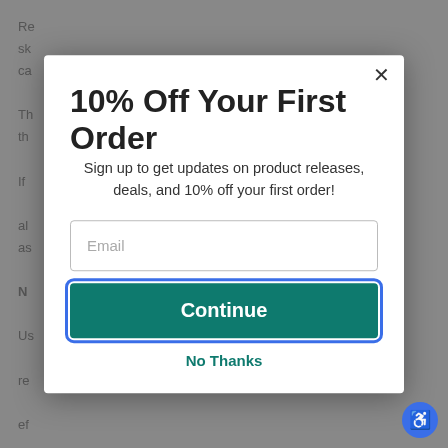Re... sk... ca... Th... th... If ... al... de as...
10% Off Your First Order
Sign up to get updates on product releases, deals, and 10% off your first order!
Email
Continue
No Thanks